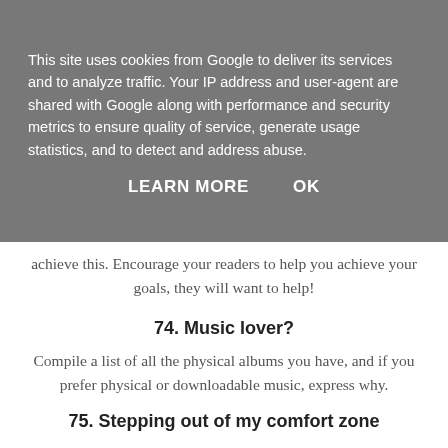This site uses cookies from Google to deliver its services and to analyze traffic. Your IP address and user-agent are shared with Google along with performance and security metrics to ensure quality of service, generate usage statistics, and to detect and address abuse.
LEARN MORE    OK
achieve this. Encourage your readers to help you achieve your goals, they will want to help!
74. Music lover?
Compile a list of all the physical albums you have, and if you prefer physical or downloadable music, express why.
75. Stepping out of my comfort zone